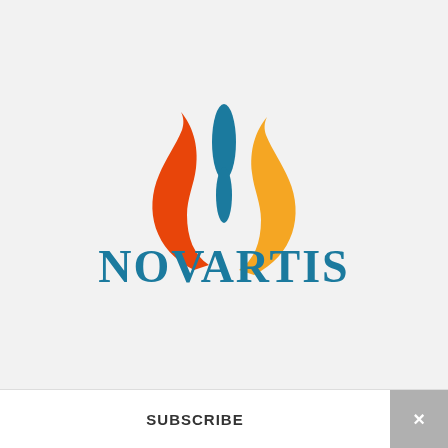[Figure (logo): Novartis logo: three flame/leaf shapes in orange, teal/blue, and yellow-orange above the word NOVARTIS in teal serif-style letters]
SUBSCRIBE
×